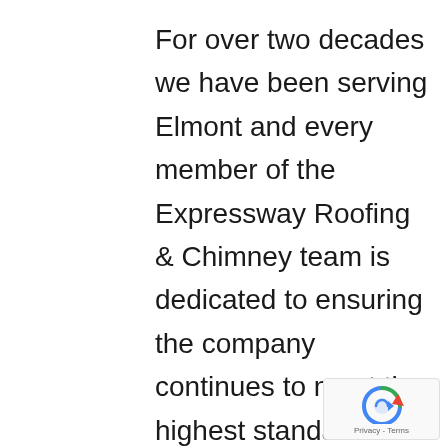For over two decades we have been serving Elmont and every member of the Expressway Roofing & Chimney team is dedicated to ensuring the company continues to meet the highest standards of ethics and customer roof replacement. Expressway is a stable, family-owned and operated business that is committed to treating Expressway's clients like our roofing experts would want to be
[Figure (logo): reCAPTCHA badge with circular arrow icon and Privacy - Terms text]